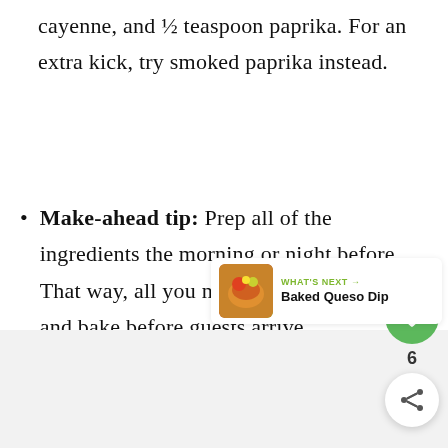cayenne, and ½ teaspoon paprika. For an extra kick, try smoked paprika instead.
Make-ahead tip: Prep all of the ingredients the morning or night before. That way, all you need to do is assemble and bake before guests arrive.
[Figure (other): Green heart/like button with count of 6 and a share button widget on the right side of the page]
[Figure (other): What's Next card showing Baked Queso Dip with thumbnail image]
[Figure (photo): Food photograph placeholder at bottom of page]